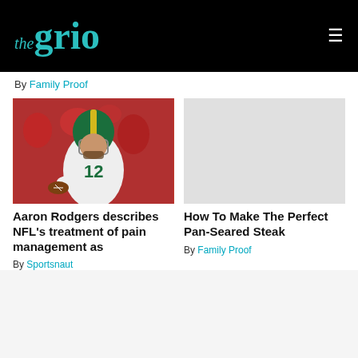the grio
By Family Proof
[Figure (photo): Aaron Rodgers in Green Bay Packers uniform #12 holding a football, with red crowd in background]
[Figure (photo): Placeholder light gray image for pan-seared steak article]
Aaron Rodgers describes NFL's treatment of pain management as
By Sportsnaut
How To Make The Perfect Pan-Seared Steak
By Family Proof